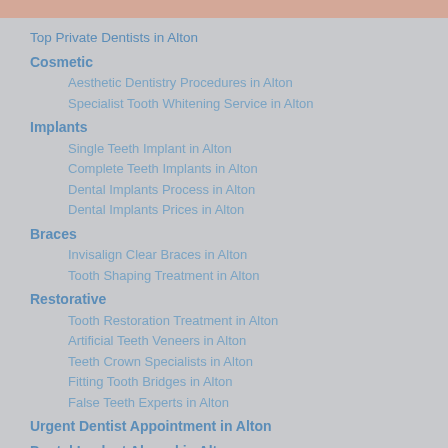Top Private Dentists in Alton
Cosmetic
Aesthetic Dentistry Procedures in Alton
Specialist Tooth Whitening Service in Alton
Implants
Single Teeth Implant in Alton
Complete Teeth Implants in Alton
Dental Implants Process in Alton
Dental Implants Prices in Alton
Braces
Invisalign Clear Braces in Alton
Tooth Shaping Treatment in Alton
Restorative
Tooth Restoration Treatment in Alton
Artificial Teeth Veneers in Alton
Teeth Crown Specialists in Alton
Fitting Tooth Bridges in Alton
False Teeth Experts in Alton
Urgent Dentist Appointment in Alton
Dental Implant Abroad in Alton